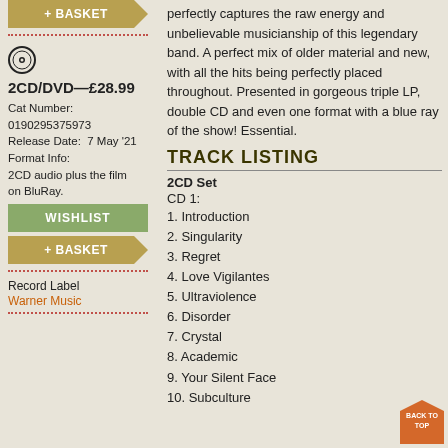[Figure (other): Gold arrow-shaped + BASKET button (top left)]
[Figure (other): CD icon (vinyl disc symbol)]
2CD/DVD—£28.99
Cat Number: 0190295375973
Release Date: 7 May '21
Format Info: 2CD audio plus the film on BluRay.
[Figure (other): Green WISHLIST button]
[Figure (other): Gold arrow-shaped + BASKET button (second)]
Record Label
Warner Music
perfectly captures the raw energy and unbelievable musicianship of this legendary band. A perfect mix of older material and new, with all the hits being perfectly placed throughout. Presented in gorgeous triple LP, double CD and even one format with a blue ray of the show! Essential.
TRACK LISTING
2CD Set
CD 1:
1. Introduction
2. Singularity
3. Regret
4. Love Vigilantes
5. Ultraviolence
6. Disorder
7. Crystal
8. Academic
9. Your Silent Face
10. Subculture